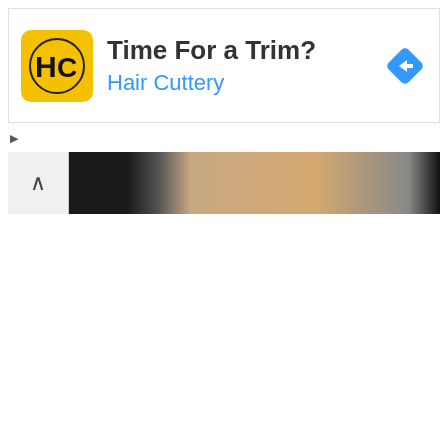[Figure (screenshot): Hair Cuttery advertisement banner with yellow HC logo, title 'Time For a Trim?', brand name 'Hair Cuttery' in blue, and a blue navigation/directions diamond icon on the right. Below the ad are ad controls (play and close icons) and a partial photo strip showing a dark background with a hand/fist.]